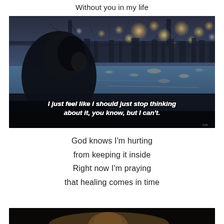Without you in my life
[Figure (photo): A silhouette of a person in a hoodie sitting and looking at a city skyline across water at dusk, with bokeh city lights and a bridge in the background. Text overlay reads: 'I just feel like I should just stop thinking about it, you know, but I can't.']
God knows I'm hurting
from keeping it inside
Right now I'm praying
that healing comes in time
[Figure (photo): Bottom portion of another photo, partially visible — appears to show a performer or person lit from below against a dark background.]